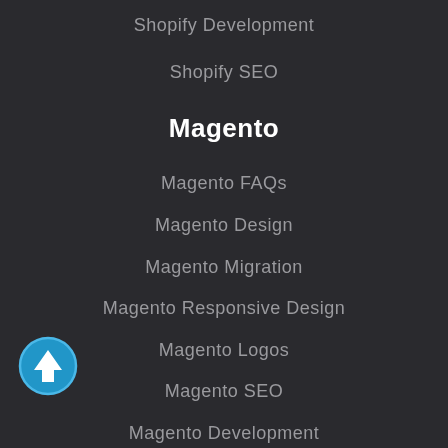Shopify Development
Shopify SEO
Magento
Magento FAQs
Magento Design
Magento Migration
Magento Responsive Design
Magento Logos
Magento SEO
Magento Development